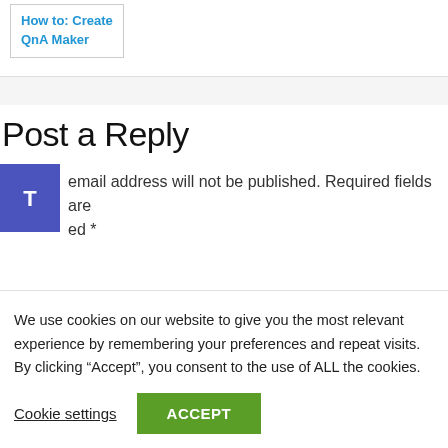How to: Create QnA Maker
Post a Reply
email address will not be published. Required fields are ed *
We use cookies on our website to give you the most relevant experience by remembering your preferences and repeat visits. By clicking “Accept”, you consent to the use of ALL the cookies.
Cookie settings
ACCEPT